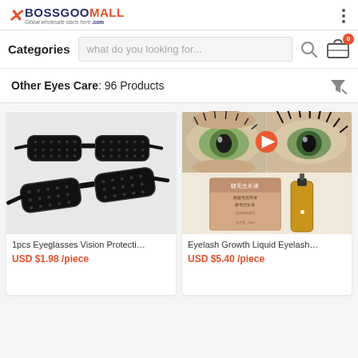[Figure (logo): BossGooMall.com logo with orange X icon and blue/orange brand text]
Categories   what do you looking for...
Other Eyes Care: 96 Products
[Figure (photo): Two black pinhole eyeglasses for vision protection]
1pcs Eyeglasses Vision Protecti…
USD $1.98 /piece
[Figure (photo): Eyelash Growth Liquid serum product with before/after eye images]
Eyelash Growth Liquid Eyelash…
USD $5.40 /piece